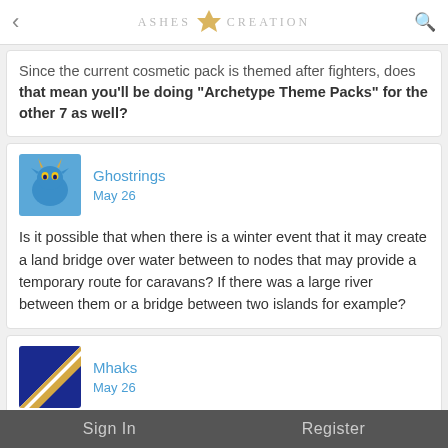ASHES OF CREATION
Since the current cosmetic pack is themed after fighters, does that mean you'll be doing "Archetype Theme Packs" for the other 7 as well?
Ghostrings
May 26
Is it possible that when there is a winter event that it may create a land bridge over water between to nodes that may provide a temporary route for caravans? If there was a large river between them or a bridge between two islands for example?
Mhaks
May 26
Will there be an in-game system like the Dammaz Kron (Book of Grudges) that was a mod on Warhammer Online?
Sign In    Register